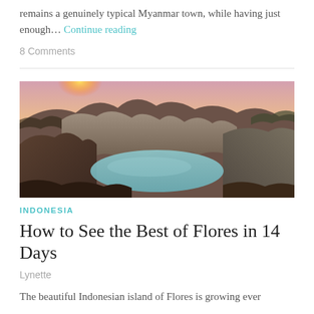remains a genuinely typical Myanmar town, while having just enough… Continue reading
8 Comments
[Figure (photo): Volcanic crater lake at sunset with orange sky glow over rocky volcanic rim, teal-blue water visible in the crater below — Kelimutu, Flores, Indonesia]
INDONESIA
How to See the Best of Flores in 14 Days
Lynette
The beautiful Indonesian island of Flores is growing ever